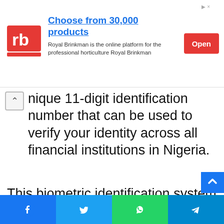[Figure (other): Royal Brinkman advertisement banner with logo, headline 'Choose from 30,000 products', subtext about online platform for professional horticulture, and red Open button]
unique 11-digit identification number that can be used to verify your identity across all financial institutions in Nigeria.
This biometric identification system was implemented by the Central Bank of Nigeria in conjunction with all the financial institutions in Nigeria. The BVN identification system was created to curb illegal banking transactions in the country. The system works by
[Figure (other): Social share bar with Facebook, Twitter, WhatsApp, and Telegram buttons]